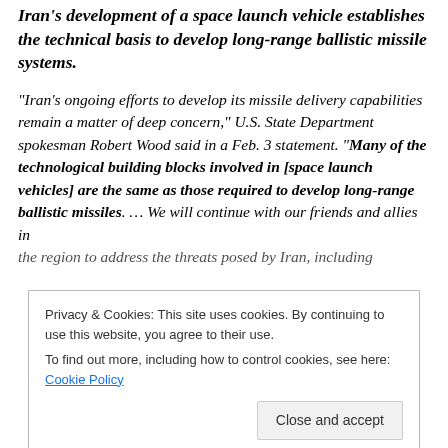Iran's development of a space launch vehicle establishes the technical basis to develop long-range ballistic missile systems.
“Iran’s ongoing efforts to develop its missile delivery capabilities remain a matter of deep concern,” U.S. State Department spokesman Robert Wood said in a Feb. 3 statement. “Many of the technological building blocks involved in [space launch vehicles] are the same as those required to develop long-range ballistic missiles. … We will continue with our friends and allies in the region to address the threats posed by Iran, including
Privacy & Cookies: This site uses cookies. By continuing to use this website, you agree to their use.
To find out more, including how to control cookies, see here: Cookie Policy
Close and accept